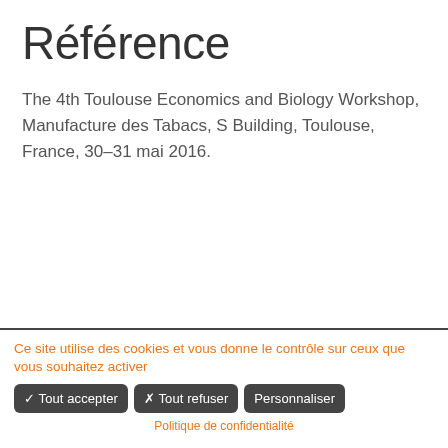Référence
The 4th Toulouse Economics and Biology Workshop, Manufacture des Tabacs, S Building, Toulouse, France, 30–31 mai 2016.
Ce site utilise des cookies et vous donne le contrôle sur ceux que vous souhaitez activer
✓ Tout accepter  ✗ Tout refuser  Personnaliser
Politique de confidentialité